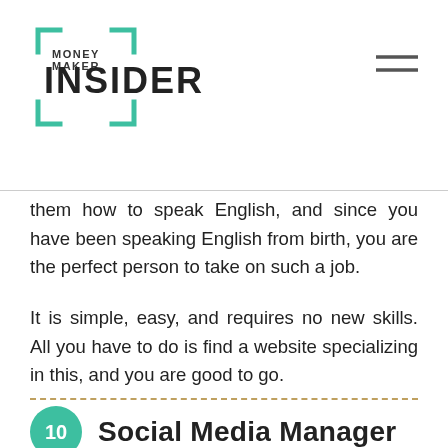MONEY MAKER INSIDER
them how to speak English, and since you have been speaking English from birth, you are the perfect person to take on such a job.
It is simple, easy, and requires no new skills. All you have to do is find a website specializing in this, and you are good to go.
10. Social Media Manager